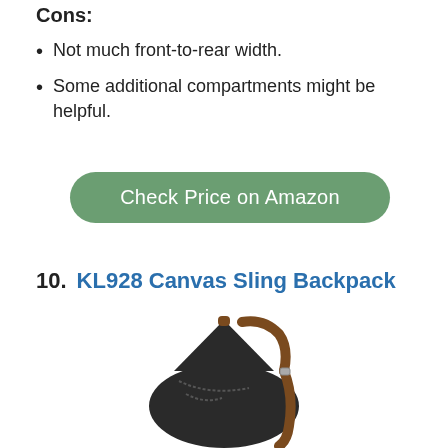Cons:
Not much front-to-rear width.
Some additional compartments might be helpful.
[Figure (other): Green rounded button reading 'Check Price on Amazon']
10.  KL928 Canvas Sling Backpack
[Figure (photo): Photo of a black canvas sling backpack with brown leather straps, KL928 model, shown from a front-angle view against a white background.]